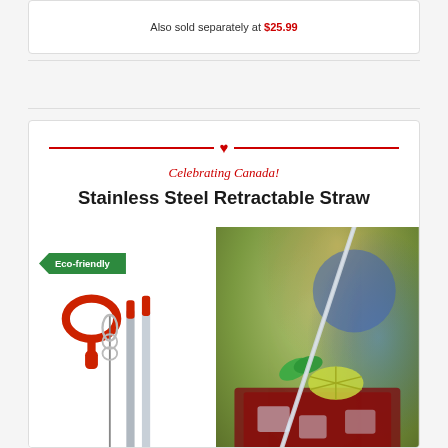Also sold separately at $25.99
[Figure (photo): Product photo of stainless steel retractable straw with accessories and a drink photo. Includes eco-friendly badge, celebrating Canada tagline, and product title.]